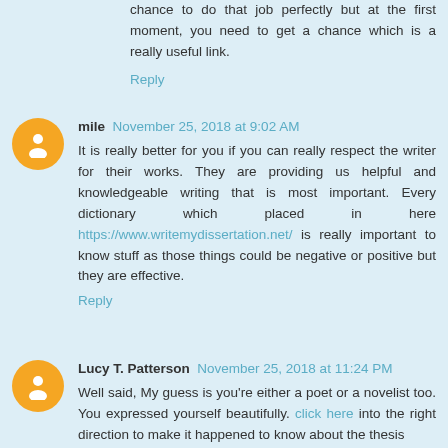chance to do that job perfectly but at the first moment, you need to get a chance which is a really useful link.
Reply
mile  November 25, 2018 at 9:02 AM
It is really better for you if you can really respect the writer for their works. They are providing us helpful and knowledgeable writing that is most important. Every dictionary which placed in here https://www.writemydissertation.net/ is really important to know stuff as those things could be negative or positive but they are effective.
Reply
Lucy T. Patterson  November 25, 2018 at 11:24 PM
Well said, My guess is you're either a poet or a novelist too. You expressed yourself beautifully. click here into the right direction to make it happened to know about the thesis